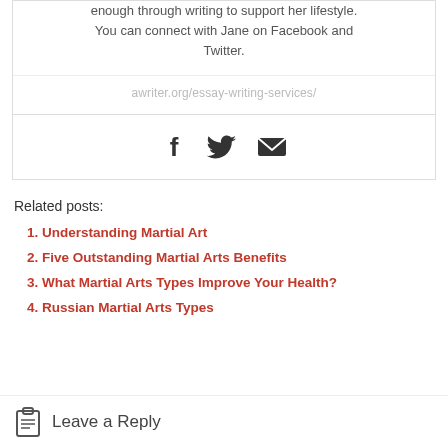enough through writing to support her lifestyle. You can connect with Jane on Facebook and Twitter.
awriter.org/essay-writing-services/
[Figure (infographic): Social sharing icons: Facebook (f), Twitter (bird), Email (envelope)]
Related posts:
Understanding Martial Art
Five Outstanding Martial Arts Benefits
What Martial Arts Types Improve Your Health?
Russian Martial Arts Types
Leave a Reply